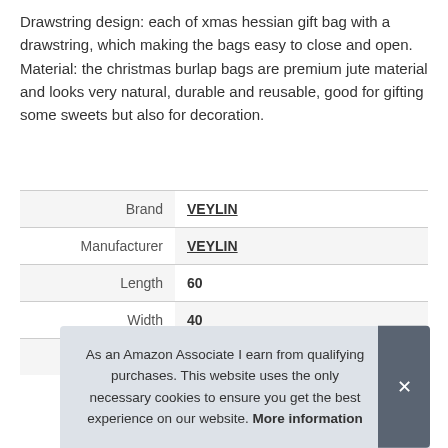Drawstring design: each of xmas hessian gift bag with a drawstring, which making the bags easy to close and open. Material: the christmas burlap bags are premium jute material and looks very natural, durable and reusable, good for gifting some sweets but also for decoration.
| Brand | VEYLIN |
| Manufacturer | VEYLIN |
| Length | 60 |
| Width | 40 |
| Part Number | VEYLIN-UK-DK126M5P1Oh |
As an Amazon Associate I earn from qualifying purchases. This website uses the only necessary cookies to ensure you get the best experience on our website. More information